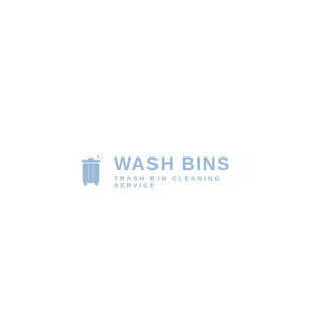[Figure (logo): Wash Bins trash bin cleaning service logo. Features a light blue illustrated trash bin with sparkle/shine marks above it on the left, and bold text 'WASH BINS' with smaller text 'TRASH BIN CLEANING SERVICE' below on the right. All in a muted light blue color.]